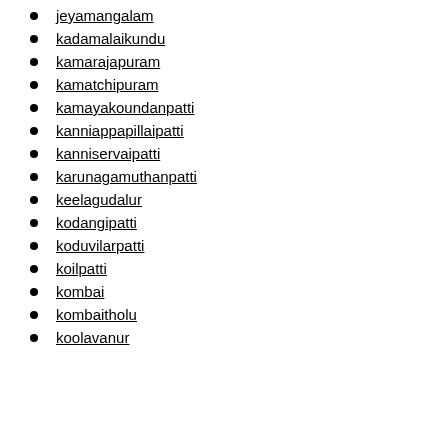jeyamangalam
kadamalaikundu
kamarajapuram
kamatchipuram
kamayakoundanpatti
kanniappapillaipatti
kanniservaipatti
karunagamuthanpatti
keelagudalur
kodangipatti
koduvilarpatti
koilpatti
kombai
kombaitholu
koolavanur